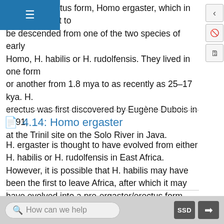tus form, Homo ergaster, which in turn is thought to be descended from one of the two species of early Homo, H. habilis or H. rudolfensis. They lived in one form or another from 1.8 mya to as recently as 25–17 kya. H. erectus was first discovered by Eugène Dubois in 1891, at the Trinil site on the Solo River in Java.
4.14: Homo ergaster
H. ergaster is thought to have evolved from either H. habilis or H. rudolfensis in East Africa. However, it is possible that H. habilis may have been the first to leave Africa, after which it may have evolved into a pre-ergaster/erectus form that then moved into Africa and Asia. If H. habilis was in our ancestry, the latter scenario might explain how the more modernly proportioned H. ergaster appeared in the fossil record contemporary with H. habilis in East Africa.